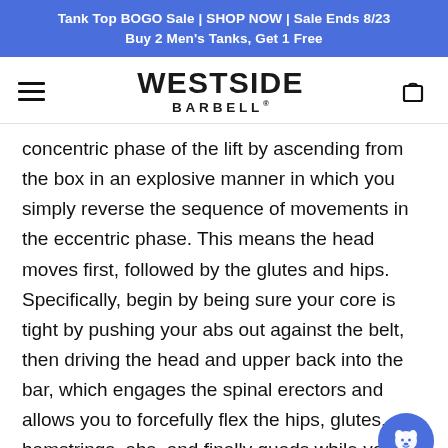Tank Top BOGO Sale | SHOP NOW | Sale Ends 8/23
Buy 2 Men's Tanks, Get 1 Free
[Figure (logo): Westside Barbell logo with hamburger menu and cart icon]
concentric phase of the lift by ascending from the box in an explosive manner in which you simply reverse the sequence of movements in the eccentric phase. This means the head moves first, followed by the glutes and hips. Specifically, begin by being sure your core is tight by pushing your abs out against the belt, then driving the head and upper back into the bar, which engages the spinal erectors and allows you to forcefully flex the hips, glutes, hamstrings, abs, and finally quads while you